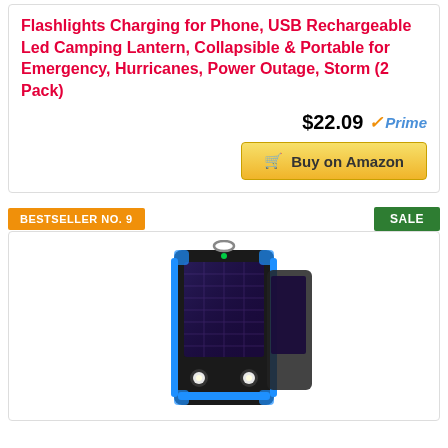Flashlights Charging for Phone, USB Rechargeable Led Camping Lantern, Collapsible & Portable for Emergency, Hurricanes, Power Outage, Storm (2 Pack)
$22.09 Prime
Buy on Amazon
BESTSELLER NO. 9
SALE
[Figure (photo): Photo of a black and blue solar power bank/charger with solar panels on the front, LED flashlights, and a carabiner hook]